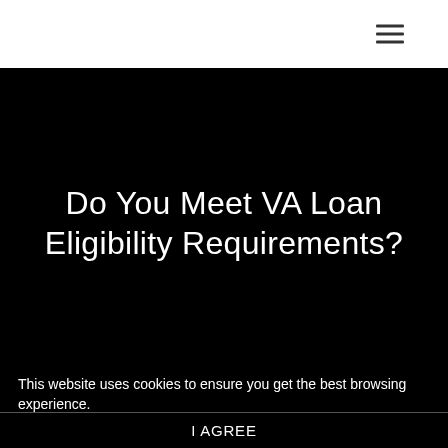[Figure (other): Hamburger menu icon (three horizontal lines) in top-right header area]
Do You Meet VA Loan Eligibility Requirements?
This website uses cookies to ensure you get the best browsing experience.
I AGREE